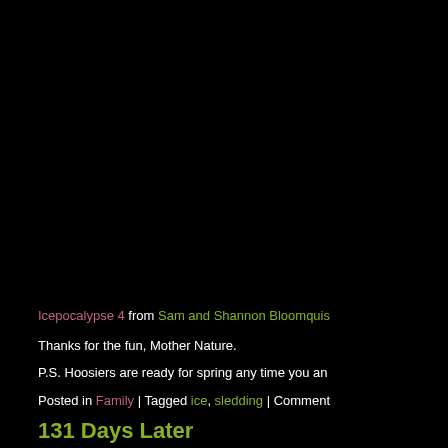[Figure (photo): Large black area occupying the upper ~60% of the page, representing a dark/night photograph]
Icepocalypse 4 from Sam and Shannon Bloomquis
Thanks for the fun, Mother Nature.
P.S. Hoosiers are ready for spring any time you an
Posted in Family | Tagged ice, sledding | Comment
131 Days Later